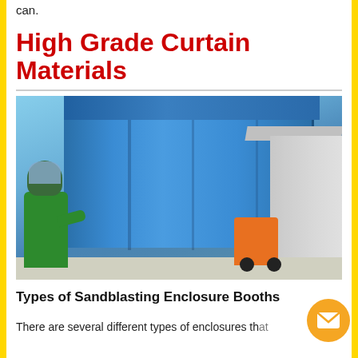can.
High Grade Curtain Materials
[Figure (photo): A sandblaster in a green protective suit operating equipment in front of a large blue curtain enclosure, with a forklift and industrial building in the background.]
Types of Sandblasting Enclosure Booths
There are several different types of enclosures that are suitable as sandblasting enclosure booths...